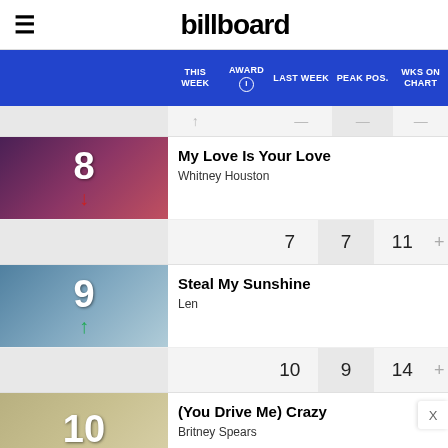billboard
| THIS WEEK | AWARD | LAST WEEK | PEAK POS. | WKS ON CHART |
| --- | --- | --- | --- | --- |
| 8 |  | 7 | 7 | 11 |
| 9 |  | 10 | 9 | 14 |
My Love Is Your Love — Whitney Houston
Steal My Sunshine — Len
(You Drive Me) Crazy — Britney Spears